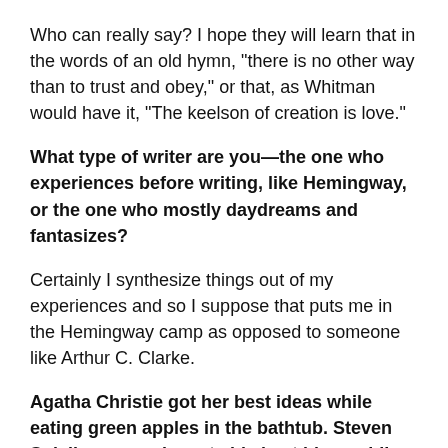Who can really say? I hope they will learn that in the words of an old hymn, "there is no other way than to trust and obey," or that, as Whitman would have it, "The keelson of creation is love."
What type of writer are you—the one who experiences before writing, like Hemingway, or the one who mostly daydreams and fantasizes?
Certainly I synthesize things out of my experiences and so I suppose that puts me in the Hemingway camp as opposed to someone like Arthur C. Clarke.
Agatha Christie got her best ideas while eating green apples in the bathtub. Steven Spielberg says he gets his best ideas while driving on the highway. When do you get your best ideas and why do you think this is?